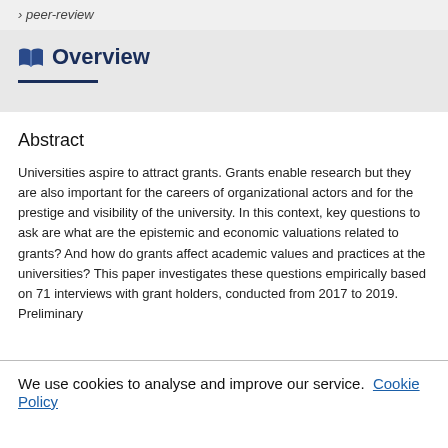› peer-review
Overview
Abstract
Universities aspire to attract grants. Grants enable research but they are also important for the careers of organizational actors and for the prestige and visibility of the university. In this context, key questions to ask are what are the epistemic and economic valuations related to grants? And how do grants affect academic values and practices at the universities? This paper investigates these questions empirically based on 71 interviews with grant holders, conducted from 2017 to 2019. Preliminary
We use cookies to analyse and improve our service. Cookie Policy